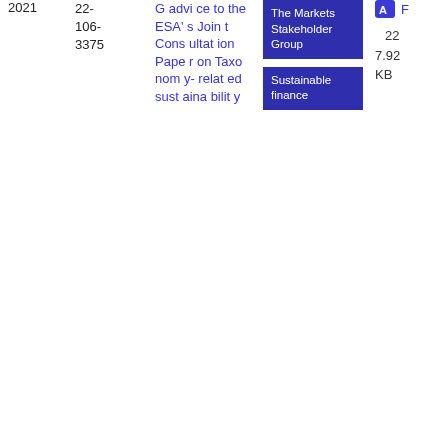2021
22-106-3375
G advice to the ESA's Joint Consultation Paper on Taxonomy-related sustainability
The Markets Stakeholder Group
Sustainable finance
Advic
F
22 7.92 KB